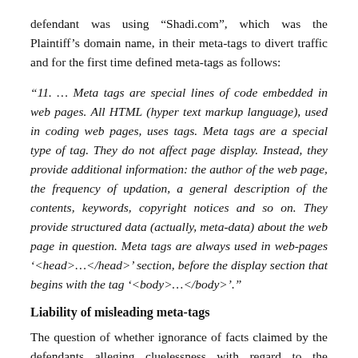defendant was using “Shadi.com”, which was the Plaintiff’s domain name, in their meta-tags to divert traffic and for the first time defined meta-tags as follows:
“11. … Meta tags are special lines of code embedded in web pages. All HTML (hyper text markup language), used in coding web pages, uses tags. Meta tags are a special type of tag. They do not affect page display. Instead, they provide additional information: the author of the web page, the frequency of updation, a general description of the contents, keywords, copyright notices and so on. They provide structured data (actually, meta-data) about the web page in question. Meta tags are always used in web-pages ‘<head>…</head>’ section, before the display section that begins with the tag ‘<body>…</body>’.”
Liability of misleading meta-tags
The question of whether ignorance of facts claimed by the defendants alleging cluelessness with regard to the insertion of such misleading meta-tags can be used as a defense has